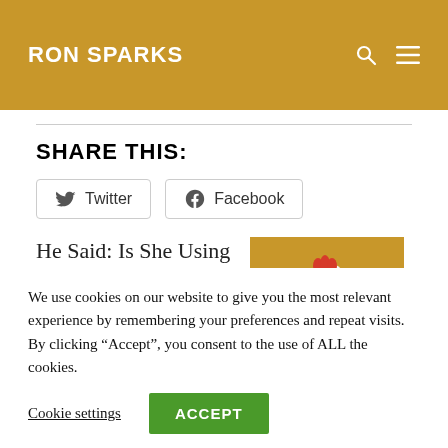RON SPARKS
SHARE THIS:
Twitter  Facebook
He Said: Is She Using Her Preg nancy to Get On...
[Figure (illustration): Cartoon chicken on a golden/yellow background, appearing flustered or embarrassed with hands on cheeks]
We use cookies on our website to give you the most relevant experience by remembering your preferences and repeat visits. By clicking “Accept”, you consent to the use of ALL the cookies.
Cookie settings  ACCEPT